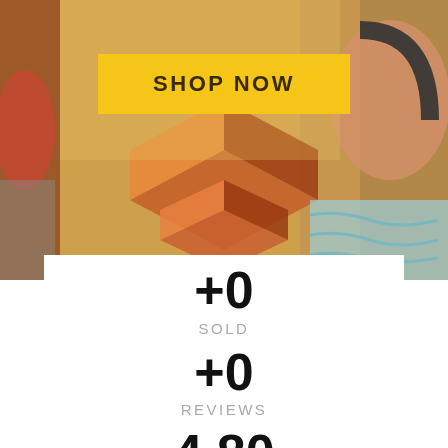[Figure (photo): Background photo collage showing wooden puzzle blocks, a child's face with headphones, and colorful objects on a warm golden/tan background]
SHOP NOW
+0
SOLD
+0
REVIEWS
4.80
AVERAGE STARS